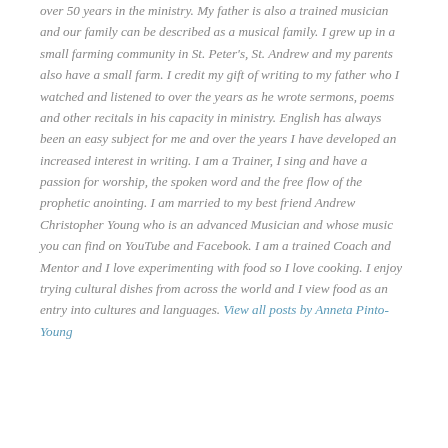over 50 years in the ministry. My father is also a trained musician and our family can be described as a musical family. I grew up in a small farming community in St. Peter's, St. Andrew and my parents also have a small farm. I credit my gift of writing to my father who I watched and listened to over the years as he wrote sermons, poems and other recitals in his capacity in ministry. English has always been an easy subject for me and over the years I have developed an increased interest in writing. I am a Trainer, I sing and have a passion for worship, the spoken word and the free flow of the prophetic anointing. I am married to my best friend Andrew Christopher Young who is an advanced Musician and whose music you can find on YouTube and Facebook. I am a trained Coach and Mentor and I love experimenting with food so I love cooking. I enjoy trying cultural dishes from across the world and I view food as an entry into cultures and languages. View all posts by Anneta Pinto-Young